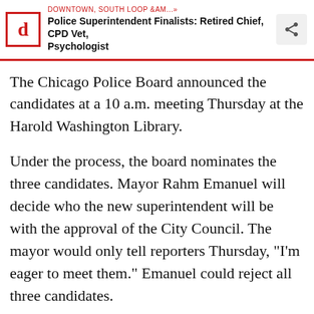DOWNTOWN, SOUTH LOOP &AM...» | Police Superintendent Finalists: Retired Chief, CPD Vet, Psychologist
The Chicago Police Board announced the candidates at a 10 a.m. meeting Thursday at the Harold Washington Library.
Under the process, the board nominates the three candidates. Mayor Rahm Emanuel will decide who the new superintendent will be with the approval of the City Council. The mayor would only tell reporters Thursday, "I'm eager to meet them." Emanuel could reject all three candidates.
McCarthy, who earned $260,000 annually, was forced out amid cases of police misconduct, including the fatal shooting of Laquan McDonald. In the interim, he was